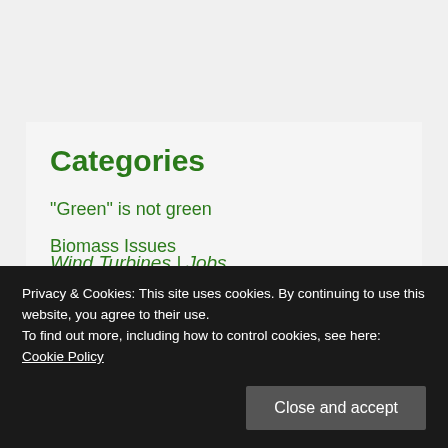Categories
"Green" is not green
Biomass Issues
Climate and Carbon
Wind Turbines | Jobs
Privacy & Cookies: This site uses cookies. By continuing to use this website, you agree to their use.
To find out more, including how to control cookies, see here: Cookie Policy
Close and accept